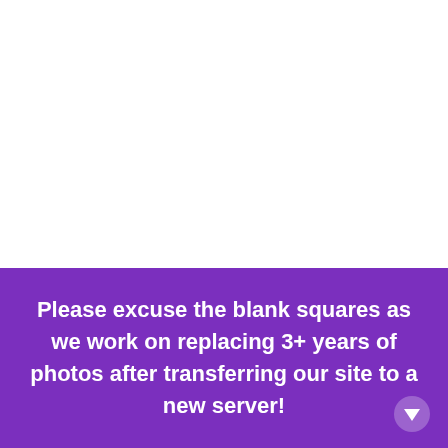[Figure (other): Blank white image area at the top of the page (missing/placeholder image)]
Going back in time a little bit, the beginning of the three-week period did not start out as well as it ended. First of all, I stepped on glass that I couldn't get out of my foot so we
Please excuse the blank squares as we work on replacing 3+ years of photos after transferring our site to a new server!